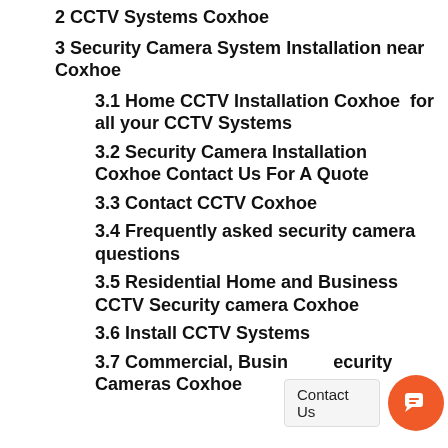2 CCTV Systems Coxhoe
3 Security Camera System Installation near Coxhoe
3.1 Home CCTV Installation Coxhoe  for all your CCTV Systems
3.2 Security Camera Installation Coxhoe Contact Us For A Quote
3.3 Contact CCTV Coxhoe
3.4 Frequently asked security camera questions
3.5 Residential Home and Business CCTV Security camera Coxhoe
3.6 Install CCTV Systems
3.7 Commercial, Business security Cameras Coxhoe